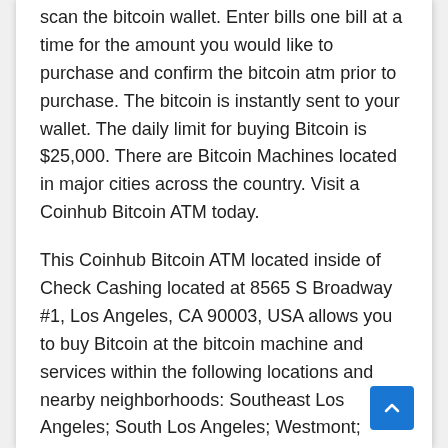scan the bitcoin wallet. Enter bills one bill at a time for the amount you would like to purchase and confirm the bitcoin atm prior to purchase. The bitcoin is instantly sent to your wallet. The daily limit for buying Bitcoin is $25,000. There are Bitcoin Machines located in major cities across the country. Visit a Coinhub Bitcoin ATM today.
This Coinhub Bitcoin ATM located inside of Check Cashing located at 8565 S Broadway #1, Los Angeles, CA 90003, USA allows you to buy Bitcoin at the bitcoin machine and services within the following locations and nearby neighborhoods: Southeast Los Angeles; South Los Angeles; Westmont; Florence-Graham; Vermont Harbor; Vernon/Main; Watts; Harbor Gateway North; Morningside Park; Athens; Hyde Park; Central Alameda; Walnut Park; Willowbrook; Leimert Park; Lennox; Windsor Hills; View Park; West Rancho